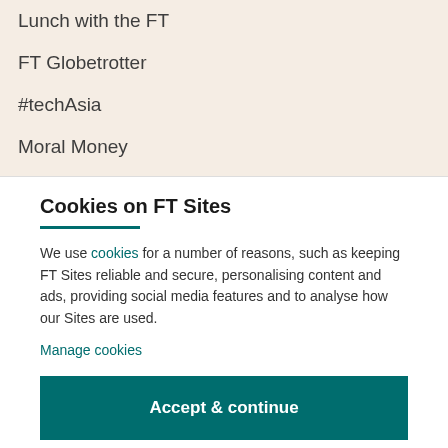Lunch with the FT
FT Globetrotter
#techAsia
Moral Money
Cookies on FT Sites
We use cookies for a number of reasons, such as keeping FT Sites reliable and secure, personalising content and ads, providing social media features and to analyse how our Sites are used.
Manage cookies
Accept & continue